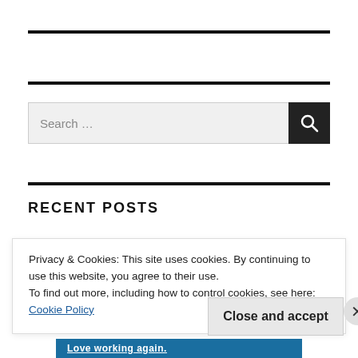RECENT POSTS
Privacy & Cookies: This site uses cookies. By continuing to use this website, you agree to their use.
To find out more, including how to control cookies, see here: Cookie Policy
Close and accept
Love working again.